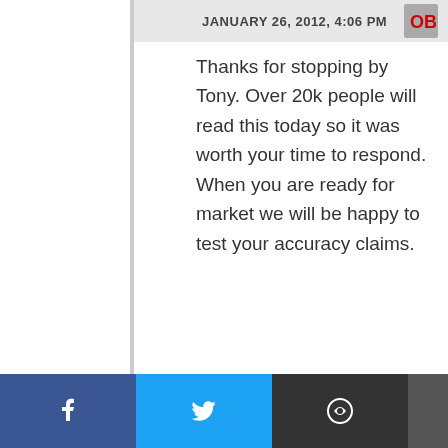JANUARY 26, 2012, 4:06 PM
Thanks for stopping by Tony. Over 20k people will read this today so it was worth your time to respond. When you are ready for market we will be happy to test your accuracy claims.
Tony
JANUARY 26, 2012, 4:08 PM
Great. Thanks.